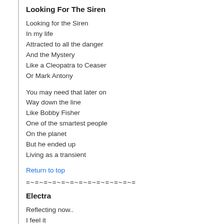Looking For The Siren
Looking for the Siren
In my life
Attracted to all the danger
And the Mystery
Like a Cleopatra to Ceaser
Or Mark Antony
You may need that later on
Way down the line
Like Bobby Fisher
One of the smartest people
On the planet
But he ended up
Living as a transient
Return to top
=~=~=~=~=~=~=~=~=~=~=~=~=
Electra
Reflecting now..
I feel it
Buzzing around
Inside of me
A tiny bumble bee
With a mild case of the butterflies
And slight nervous unease
Transient woman
Lady of the knight